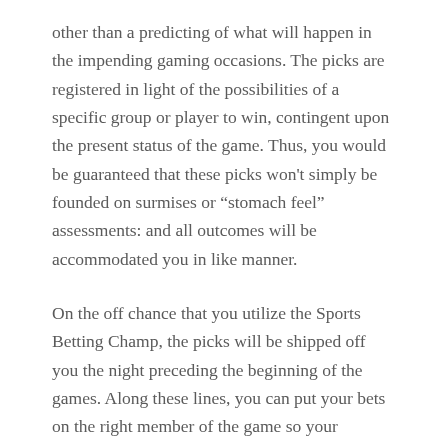other than a predicting of what will happen in the impending gaming occasions. The picks are registered in light of the possibilities of a specific group or player to win, contingent upon the present status of the game. Thus, you would be guaranteed that these picks won't simply be founded on surmises or “stomach feel” assessments: and all outcomes will be accommodated you in like manner.
On the off chance that you utilize the Sports Betting Champ, the picks will be shipped off you the night preceding the beginning of the games. Along these lines, you can put your bets on the right member of the game so your rewards would develop however much as could be expected: passing on you without any concerns regarding the dangers that could have annoyed you previously.
Having a reliable wellspring of the best picks like this guide is really something that might work out great for you. In the event